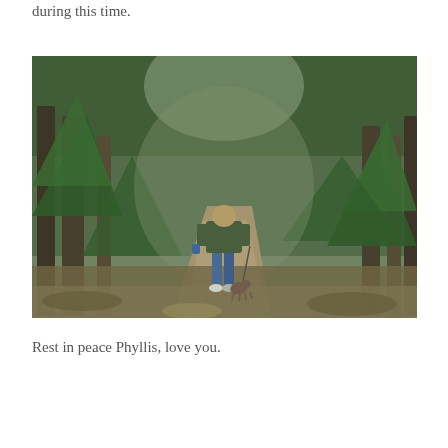during this time.
[Figure (photo): A person wearing a green jacket and blue jeans walking a small dog on a leash down a dirt forest trail surrounded by tall evergreen trees.]
Rest in peace Phyllis, love you.